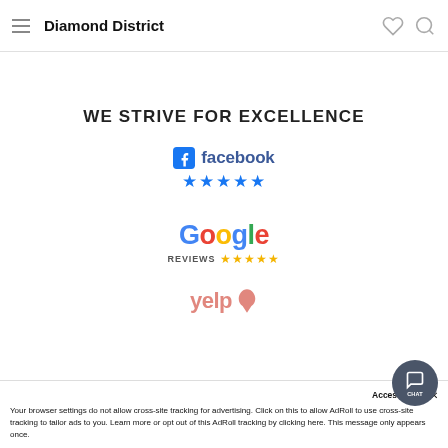Diamond District
WE STRIVE FOR EXCELLENCE
[Figure (logo): Facebook logo with five blue stars below it]
[Figure (logo): Google Reviews logo with five gold stars]
[Figure (logo): Yelp logo partially visible]
Accessibility  ×
Your browser settings do not allow cross-site tracking for advertising. Click on this to allow AdRoll to use cross-site tracking to tailor ads to you. Learn more or opt out of this AdRoll tracking by clicking here. This message only appears once.